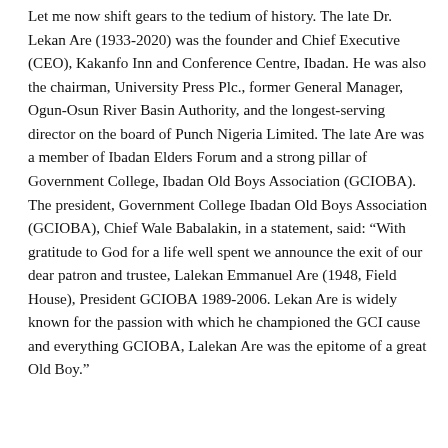Let me now shift gears to the tedium of history. The late Dr. Lekan Are (1933-2020) was the founder and Chief Executive (CEO), Kakanfo Inn and Conference Centre, Ibadan. He was also the chairman, University Press Plc., former General Manager, Ogun-Osun River Basin Authority, and the longest-serving director on the board of Punch Nigeria Limited. The late Are was a member of Ibadan Elders Forum and a strong pillar of Government College, Ibadan Old Boys Association (GCIOBA). The president, Government College Ibadan Old Boys Association (GCIOBA), Chief Wale Babalakin, in a statement, said: “With gratitude to God for a life well spent we announce the exit of our dear patron and trustee, Lalekan Emmanuel Are (1948, Field House), President GCIOBA 1989-2006. Lekan Are is widely known for the passion with which he championed the GCI cause and everything GCIOBA, Lalekan Are was the epitome of a great Old Boy.”